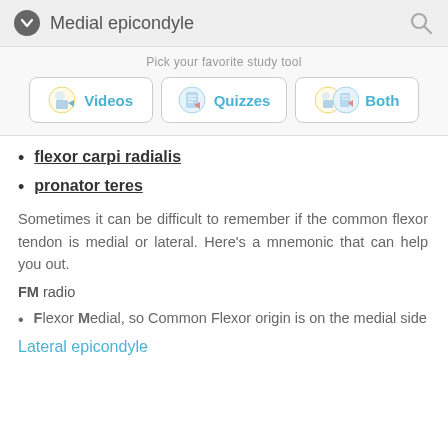Medial epicondyle
Pick your favorite study tool
[Figure (screenshot): Study tool selector with three buttons: Videos, Quizzes, Both]
flexor carpi radialis
pronator teres
Sometimes it can be difficult to remember if the common flexor tendon is medial or lateral. Here's a mnemonic that can help you out.
FM radio
Flexor Medial, so Common Flexor origin is on the medial side
Lateral epicondyle